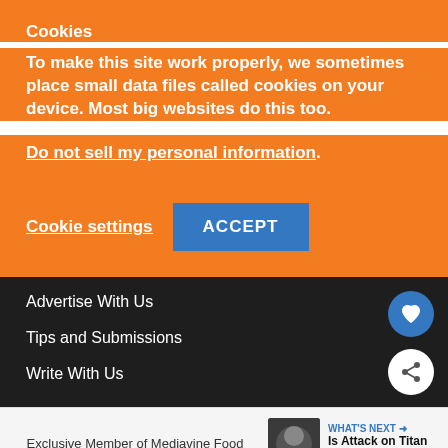Cookies
To make this site work properly, we sometimes place small data files called cookies on your device. Most big websites do this too.
Do not sell my personal information.
Cookie settings
ACCEPT
Advertise With Us
Tips and Submissions
Write With Us
Exclusive Member of Mediavine Food
WHAT'S NEXT → Is Attack on Titan Seaso...
[Figure (screenshot): Advertisement banner reading DON'T TEXT AND with car emoji, ad badge, NHTSA logo, and close button]
[Figure (screenshot): Media player or widget icon on dark background]